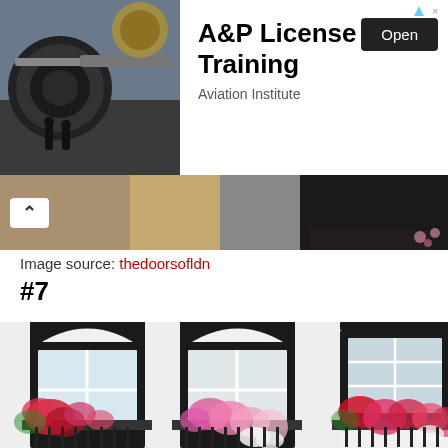[Figure (photo): Advertisement banner showing airplane jet engine with two workers standing nearby, with text 'A&P License Training', subtitle 'Aviation Institute', and an 'Open' button]
[Figure (photo): Scrollable image strip with navigation arrow showing partial building/architectural image]
Image source: thedoorsofldn
#7
[Figure (photo): Photograph of a white brick building facade with three arched windows decorated with hanging flower baskets filled with pink, red, and white flowers, with black window frames and iron railings]